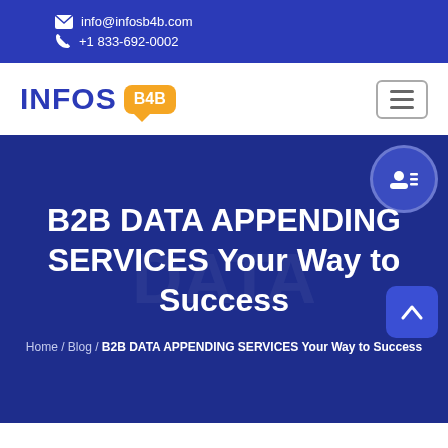info@infosb4b.com | +1 833-692-0002
[Figure (logo): INFOS B4B logo with blue text and orange speech bubble badge]
B2B DATA APPENDING SERVICES Your Way to Success
Home / Blog / B2B DATA APPENDING SERVICES Your Way to Success